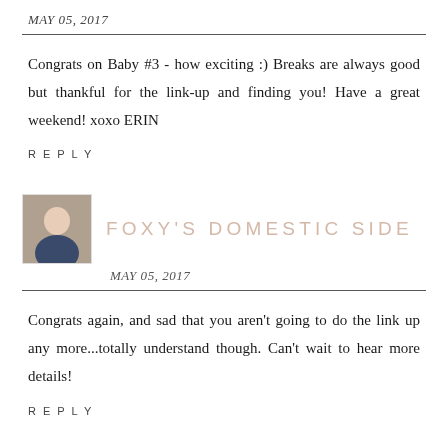MAY 05, 2017
Congrats on Baby #3 - how exciting :) Breaks are always good but thankful for the link-up and finding you! Have a great weekend! xoxo ERIN
REPLY
FOXY'S DOMESTIC SIDE
MAY 05, 2017
Congrats again, and sad that you aren't going to do the link up any more...totally understand though. Can't wait to hear more details!
REPLY